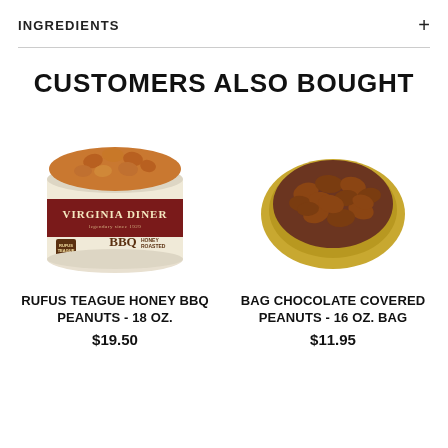INGREDIENTS
CUSTOMERS ALSO BOUGHT
[Figure (photo): Can of Virginia Diner Rufus Teague Honey BBQ Roasted Peanuts - 18 oz.]
RUFUS TEAGUE HONEY BBQ PEANUTS - 18 OZ.
$19.50
[Figure (photo): Bowl of chocolate covered peanuts - 16 oz. bag]
BAG CHOCOLATE COVERED PEANUTS - 16 OZ. BAG
$11.95